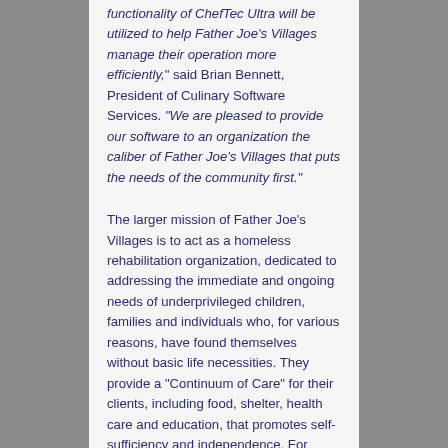functionality of ChefTec Ultra will be utilized to help Father Joe's Villages manage their operation more efficiently," said Brian Bennett, President of Culinary Software Services. "We are pleased to provide our software to an organization the caliber of Father Joe's Villages that puts the needs of the community first."
The larger mission of Father Joe's Villages is to act as a homeless rehabilitation organization, dedicated to addressing the immediate and ongoing needs of underprivileged children, families and individuals who, for various reasons, have found themselves without basic life necessities. They provide a "Continuum of Care" for their clients, including food, shelter, health care and education, that promotes self-sufficiency and independence. For more information about Father Joe's...